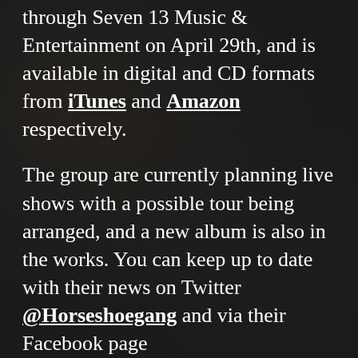through Seven 13 Music & Entertainment on April 29th, and is available in digital and CD formats from iTunes and Amazon respectively.
The group are currently planning live shows with a possible tour being arranged, and a new album is also in the works. You can keep up to date with their news on Twitter @Horseshoegang and via their Facebook page HorseshoeGangCOB
CHECK OUT THEIR OFFICIAL “ANTI-TRAP MUSIC” ALBUM STREAM